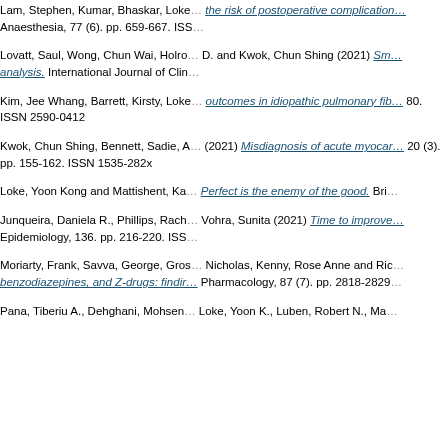Lam, Stephen, Kumar, Bhaskar, Loke... the risk of postoperative complications... Anaesthesia, 77 (6). pp. 659-667. ISS...
Lovatt, Saul, Wong, Chun Wai, Holro... D. and Kwok, Chun Shing (2021) Sm... analysis. International Journal of Clin...
Kim, Jee Whang, Barrett, Kirsty, Loke... outcomes in idiopathic pulmonary fib... 80. ISSN 2590-0412
Kwok, Chun Shing, Bennett, Sadie, A... (2021) Misdiagnosis of acute myocar... 20 (3). pp. 155-162. ISSN 1535-282x
Loke, Yoon Kong and Mattishent, Ka... Perfect is the enemy of the good. Bri...
Junqueira, Daniela R., Phillips, Rach... Vohra, Sunita (2021) Time to improve... Epidemiology, 136. pp. 216-220. ISS...
Moriarty, Frank, Savva, George, Gros... Nicholas, Kenny, Rose Anne and Ric... benzodiazepines, and Z-drugs: findir... Pharmacology, 87 (7). pp. 2818-2829...
Pana, Tiberiu A., Dehghani, Mohsen,... Loke, Yoon K., Luben, Robert N., Ma...